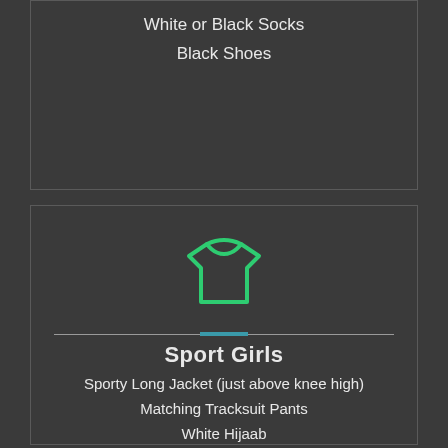White or Black Socks
Black Shoes
[Figure (illustration): Green outline icon of a sports/athletic shirt (jersey)]
Sport Girls
Sporty Long Jacket (just above knee high)
Matching Tracksuit Pants
White Hijaab
White or Black Socks
Sports Shoes